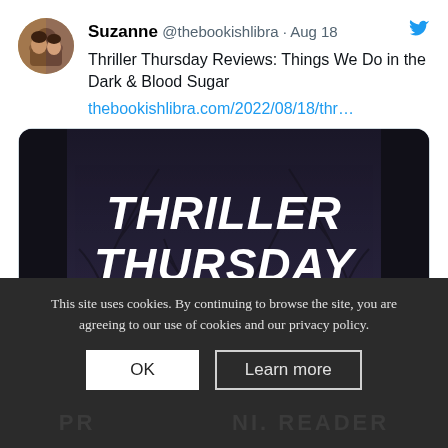[Figure (screenshot): Twitter/X post by Suzanne @thebookishlibra dated Aug 18. Text reads: 'Thriller Thursday Reviews: Things We Do in the Dark & Blood Sugar' with a link thebookishlibra.com/2022/08/18/thr... and a link preview card showing a dark atmospheric image with text 'Thriller Thursday' in white handwritten font with a teal underline, and below the image: thebookishlibra.com / Thriller Thursday Reviews: Things We Do in the Dark & Blood Sugar]
This site uses cookies. By continuing to browse the site, you are agreeing to our use of cookies and our privacy policy.